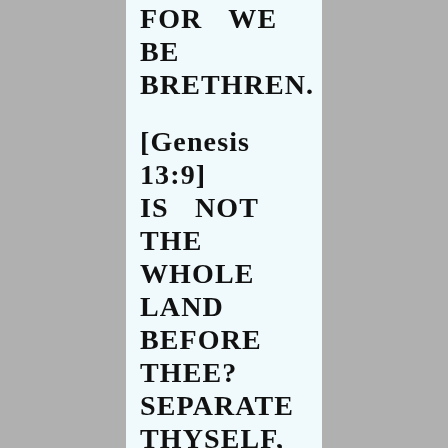FOR WE BE BRETHREN.
[Genesis 13:9] IS NOT THE WHOLE LAND BEFORE THEE? SEPARATE THYSELF, I PRAY THEE, FROM ME: IF THOU WILT TAKE THE LEFT HAND, THEN I